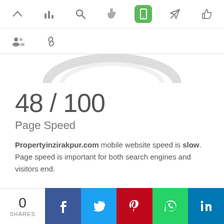[Figure (screenshot): Top navigation toolbar with icons: up arrow, bar chart, search/magnifier, hand/cursor, mobile phone (active/green), send/rocket, thumbs-up]
[Figure (screenshot): Second toolbar row with group/people icon and chain-link icon]
[Figure (other): Gauge/speedometer arc showing partial score dial, bottom portion visible]
48 / 100
Page Speed
Propertyinzirakpur.com mobile website speed is slow. Page speed is important for both search engines and visitors end.
[Figure (screenshot): Social share bar at bottom: 0 SHARES label, Facebook, Twitter, Pinterest, WhatsApp, LinkedIn buttons]